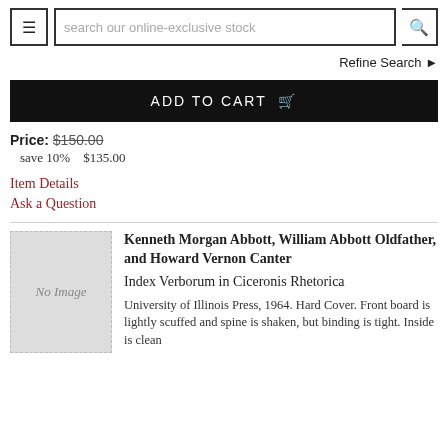search our online-exclusive stock
Refine Search
ADD TO CART
Price: $150.00
save 10%  $135.00
Item Details
Ask a Question
[Figure (illustration): No Image placeholder for book cover]
Kenneth Morgan Abbott, William Abbott Oldfather, and Howard Vernon Canter
Index Verborum in Ciceronis Rhetorica
University of Illinois Press, 1964. Hard Cover. Front board is lightly scuffed and spine is shaken, but binding is tight. Inside is clean